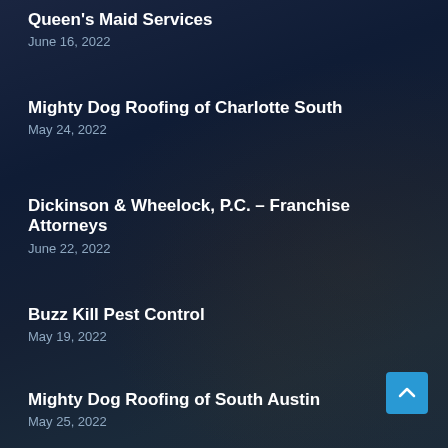Queen's Maid Services
June 16, 2022
Mighty Dog Roofing of Charlotte South
May 24, 2022
Dickinson & Wheelock, P.C. – Franchise Attorneys
June 22, 2022
Buzz Kill Pest Control
May 19, 2022
Mighty Dog Roofing of South Austin
May 25, 2022